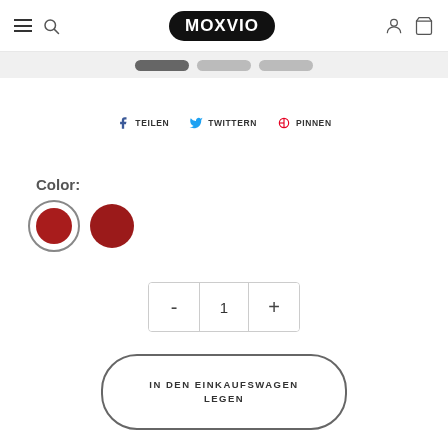MOXVIO — navigation header with hamburger, search, logo, user and cart icons
[Figure (screenshot): Breadcrumb navigation strip with three pill-shaped segments]
TEILEN   TWITTERN   PINNEN
Color:
[Figure (illustration): Two red color swatches: one selected (with outer ring) and one plain dark red circle]
[Figure (other): Quantity selector with minus button, value 1, and plus button]
IN DEN EINKAUFSWAGEN LEGEN